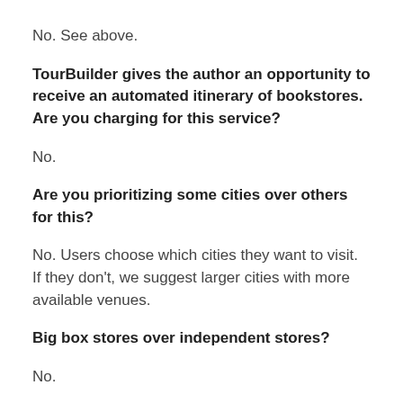No. See above.
TourBuilder gives the author an opportunity to receive an automated itinerary of bookstores. Are you charging for this service?
No.
Are you prioritizing some cities over others for this?
No. Users choose which cities they want to visit. If they don't, we suggest larger cities with more available venues.
Big box stores over independent stores?
No.